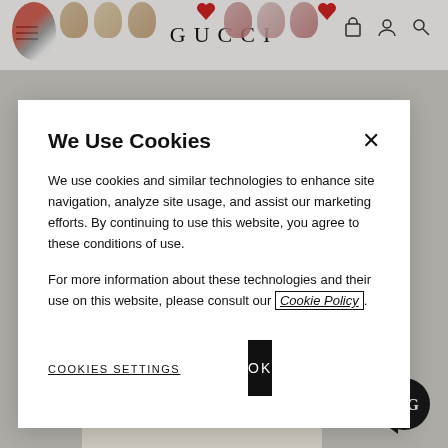[Figure (screenshot): Gucci website background showing navigation bar with logo, product items (shoes, skirt), and decorative elements]
We Use Cookies
We use cookies and similar technologies to enhance site navigation, analyze site usage, and assist our marketing efforts. By continuing to use this website, you agree to these conditions of use.
For more information about these technologies and their use on this website, please consult our Cookie Policy.
COOKIES SETTINGS
OK